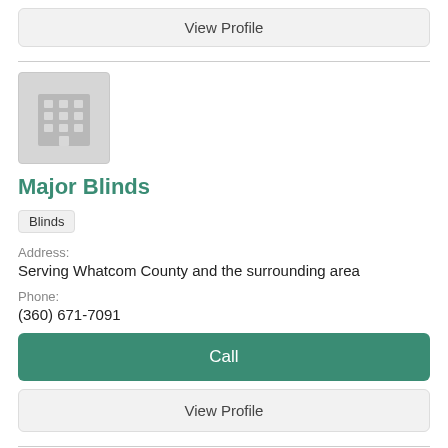View Profile
[Figure (illustration): Generic building/company placeholder icon - grey square with grid of windows]
Major Blinds
Blinds
Address:
Serving Whatcom County and the surrounding area
Phone:
(360) 671-7091
Call
View Profile
[Figure (illustration): Generic building/company placeholder icon - grey square partially visible at bottom]